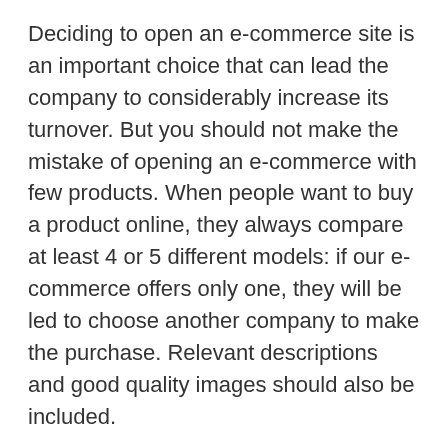Deciding to open an e-commerce site is an important choice that can lead the company to considerably increase its turnover. But you should not make the mistake of opening an e-commerce with few products. When people want to buy a product online, they always compare at least 4 or 5 different models: if our e-commerce offers only one, they will be led to choose another company to make the purchase. Relevant descriptions and good quality images should also be included.
Tech
< Samsung, OneUI 2.0 based on Android 10: what's new
> Samsung S8 here's how it will be: edge-